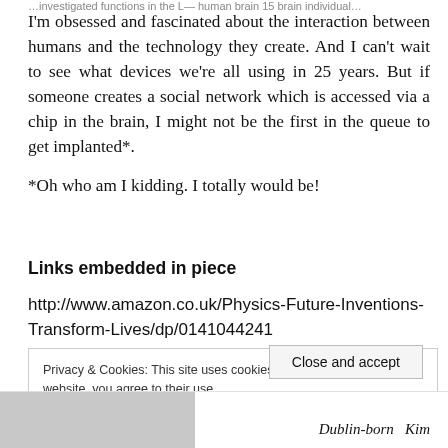…investigated functions in the L— human brain 15 brain individual…
I'm obsessed and fascinated about the interaction between humans and the technology they create. And I can't wait to see what devices we're all using in 25 years. But if someone creates a social network which is accessed via a chip in the brain, I might not be the first in the queue to get implanted*.
*Oh who am I kidding. I totally would be!
Links embedded in piece
http://www.amazon.co.uk/Physics-Future-Inventions-Transform-Lives/dp/0141044241
Privacy & Cookies: This site uses cookies. By continuing to use this website, you agree to their use.
To find out more, including how to control cookies, see here: Cookie Policy

Close and accept
[Figure (photo): Partial photo of a person visible at the bottom left of the page]
Dublin-born   Kim